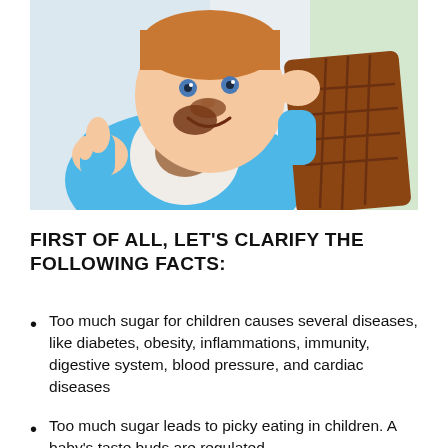[Figure (photo): A toddler with chocolate smeared on his face holding a large chocolate bar, wearing a blue long-sleeve shirt]
FIRST OF ALL, LET'S CLARIFY THE FOLLOWING FACTS:
Too much sugar for children causes several diseases, like diabetes, obesity, inflammations, immunity, digestive system, blood pressure, and cardiac diseases
Too much sugar leads to picky eating in children. A baby's taste buds are regulated